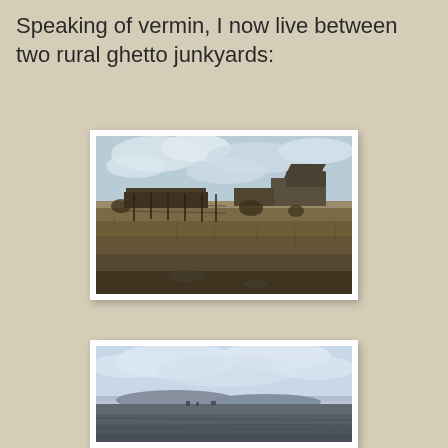Speaking of vermin, I now live between two rural ghetto junkyards:
[Figure (photo): Photograph of a rural junkyard scene showing dry grassland in the foreground, farm buildings and vehicles including what appears to be a dump truck in the middle distance, under a partly cloudy sky.]
[Figure (photo): Photograph of a wide open rural landscape with mountains visible in the distance, small structures or vehicles on the horizon, and a broad cloudy sky above.]